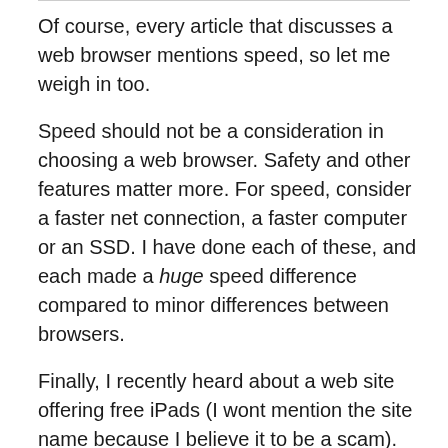Of course, every article that discusses a web browser mentions speed, so let me weigh in too.
Speed should not be a consideration in choosing a web browser. Safety and other features matter more. For speed, consider a faster net connection, a faster computer or an SSD. I have done each of these, and each made a huge speed difference compared to minor differences between browsers.
Finally, I recently heard about a web site offering free iPads (I wont mention the site name because I believe it to be a scam). Figuring the site was dicey, I visited it with a browser running